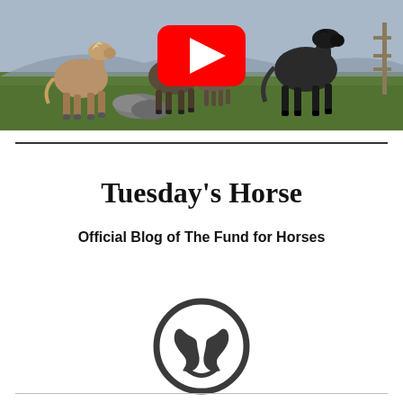[Figure (photo): A group of horses in a field with mountains in the background, with a YouTube play button overlay in the center.]
Tuesday’s Horse
Official Blog of The Fund for Horses
[Figure (logo): A dark grey circular logo icon resembling stylized horse hooves or a decorative emblem for The Fund for Horses.]